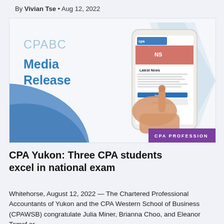By Vivian Tse • Aug 12, 2022
[Figure (illustration): CPABC Media Release banner image showing a hand holding a smartphone with CPA website displayed, with decorative blue arc and arrow shapes in the background. A purple badge reads 'CPA PROFESSION'.]
CPA Yukon: Three CPA students excel in national exam
Whitehorse, August 12, 2022 — The Chartered Professional Accountants of Yukon and the CPA Western School of Business (CPAWSB) congratulate Julia Miner, Brianna Choo, and Eleanor Tomsf or...